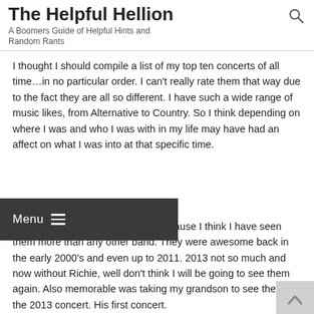The Helpful Hellion
A Boomers Guide of Helpful Hints and Random Rants
I thought I should compile a list of my top ten concerts of all time...in no particular order. I can't really rate them that way due to the fact they are all so different. I have such a wide range of music likes, from Alternative to Country. So I think depending on where I was and who I was with in my life may have had an affect on what I was into at that specific time.
My Top Ten Concert List:
1. Bon Jovi – it only tops the list because I think I have seen them more than any other band. They were awesome back in the early 2000's and even up to 2011. 2013 not so much and now without Richie, well don't think I will be going to see them again. Also memorable was taking my grandson to see them at the 2013 concert. His first concert.
2. The Rolling Stones – early 80's, was booked as their last tour. Great concert. Journey opened and were booed off the